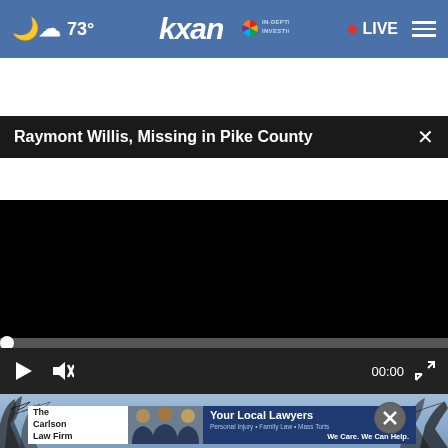73° | KXAN IN-DEPTH INVESTIGATIVE | LIVE
Raymont Willis, Missing in Pike County
[Figure (screenshot): Black video player area (video not loaded / black screen)]
[Figure (photo): Background outdoor photo with tree silhouettes against a blue sky, partially visible behind an advertisement overlay]
[Figure (infographic): Advertisement for The Carlson Law Firm: 'Your Local Lawyers — Personal Injury • Family Law • Mass Torts — We Care. We Can Help.' with photos of three lawyers in suits]